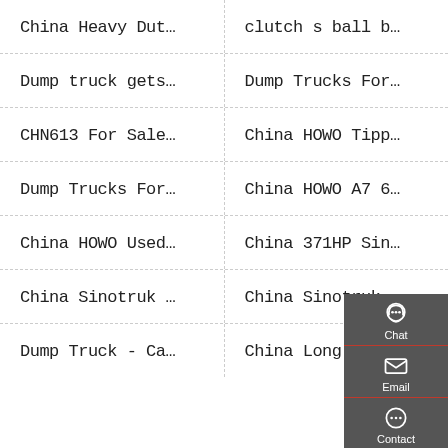China Heavy Dut…
clutch s ball b…
Dump truck gets…
Dump Trucks For…
CHN613 For Sale…
China HOWO Tipp…
Dump Trucks For…
China HOWO A7 6…
China HOWO Used…
China 371HP Sin…
China Sinotruk …
China Sinotruk …
Dump Truck - Ca…
China Long Nose…